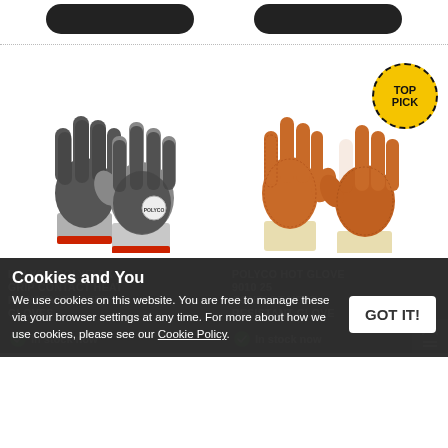[Figure (photo): Two dark grey/black nitrile grip safety gloves with red cuffs (Polyco Polyflex Grip)]
[Figure (photo): Two orange/tan heat-resistant dotted gloves with cream cuffs, with yellow TOP PICK badge (Polyco Hot Glove 9010 25)]
POLYCO POLYFLEX GRIP CONTACT HEAT RESISTANT SAFETY GLOVES
POLYCO HOT GLOVE 9010 25 CONTACT HEAT RESISTANT GLOVE
Cookies and You
We use cookies on this website. You are free to manage these via your browser settings at any time. For more about how we use cookies, please see our Cookie Policy.
GOT IT!
In stock now
In stock now